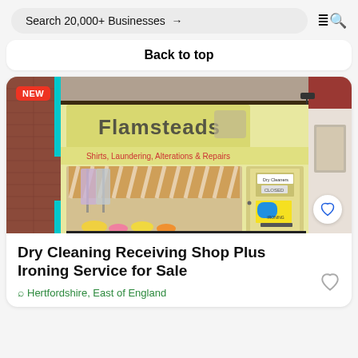Search 20,000+ Businesses →
Back to top
[Figure (photo): Exterior photo of a dry cleaning and laundry shop called Flamsteads showing a yellow shopfront with signage reading 'Shirts, Laundering, Alterations & Repairs', clothes hanging in the window, a door with 'Dry Cleaners CLOSED' sign, and a 'NEW' red badge overlay in the top-left corner.]
Dry Cleaning Receiving Shop Plus Ironing Service for Sale
Hertfordshire, East of England